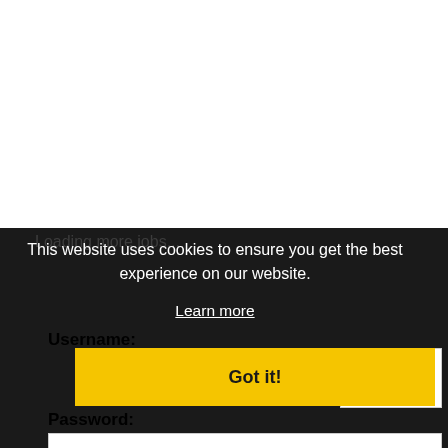Loading more jobs...
This website uses cookies to ensure you get the best experience on our website.
Learn more
Got it!
Username:
Password: